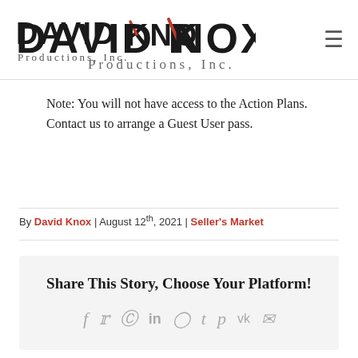DAVID KNOX Productions, Inc.
Note: You will not have access to the Action Plans.
Contact us to arrange a Guest User pass.
By David Knox | August 12th, 2021 | Seller's Market
Share This Story, Choose Your Platform!